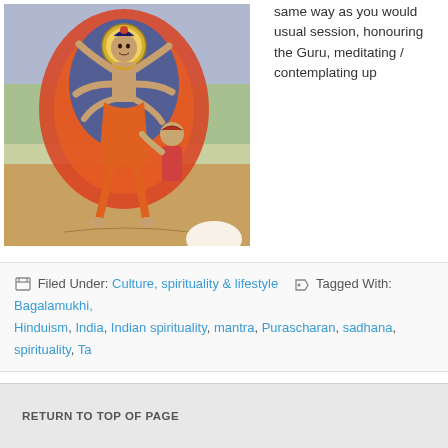[Figure (illustration): Traditional Indian painting depicting a multi-armed goddess/deity figure surrounded by flames, with another figure beside her, set against a landscape background. Colors include orange, blue, red, and green.]
same way as you would usual session, honouring the Guru, meditating / contemplating up
Filed Under: Culture, spirituality & lifestyle  Tagged With: Bagalamukhi, Hinduism, India, Indian spirituality, mantra, Purascharan, sadhana, spirituality, Ta...
RETURN TO TOP OF PAGE